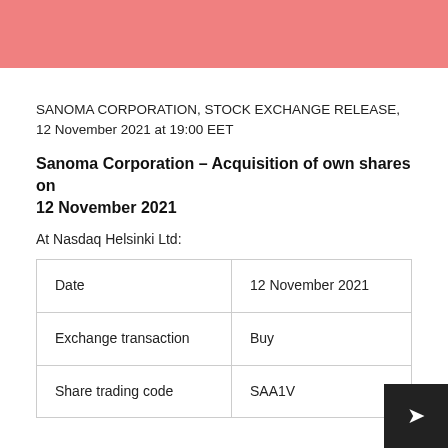SANOMA CORPORATION, STOCK EXCHANGE RELEASE, 12 November 2021 at 19:00 EET
Sanoma Corporation – Acquisition of own shares on 12 November 2021
At Nasdaq Helsinki Ltd:
| Date | 12 November 2021 |
| Exchange transaction | Buy |
| Share trading code | SAA1V |